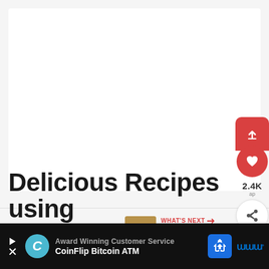[Figure (screenshot): White empty content area representing a webpage with blank image placeholder]
[Figure (illustration): Red share/upload button cluster with heart icon showing 2.4K, and a social share icon button]
[Figure (illustration): What's Next panel showing a food image thumbnail (bread) and text 'Sour Cream Banana Bread']
Delicious Recipes using
[Figure (screenshot): Advertisement banner: CoinFlip Bitcoin ATM ad with logo, navigation icon and Walmart logo, text 'Award Winning Customer Service']